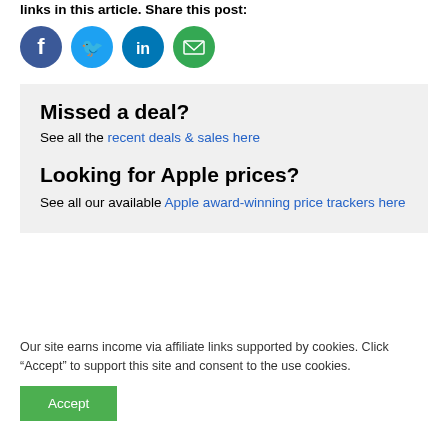links in this article. Share this post:
[Figure (illustration): Four social media sharing icons: Facebook (dark blue circle with 'f'), Twitter (light blue circle with bird icon), LinkedIn (medium blue circle with 'in'), Email (green circle with envelope icon)]
Missed a deal?
See all the recent deals & sales here
Looking for Apple prices?
See all our available Apple award-winning price trackers here
Our site earns income via affiliate links supported by cookies. Click “Accept” to support this site and consent to the use cookies.
Accept